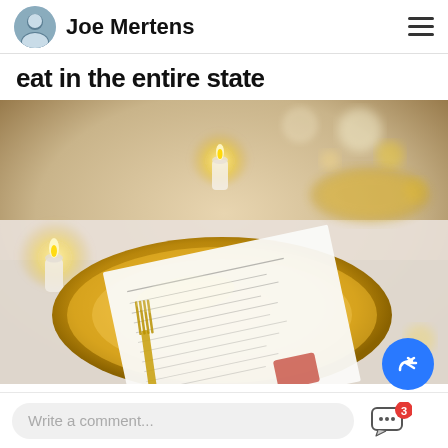Joe Mertens
eat in the entire state
[Figure (photo): A formal dining table setting with a gold charger plate holding a printed menu/letter. Gold cutlery, white tablecloth, and lit tea candles visible. A blurred elegant restaurant or event setting in the background.]
Write a comment...